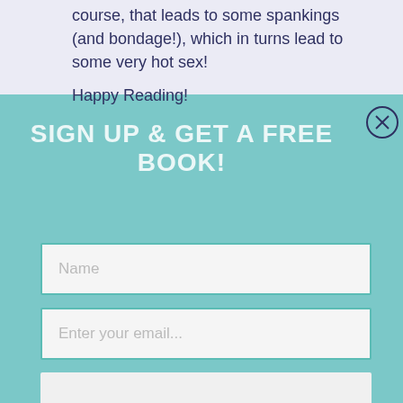course, that leads to some spankings (and bondage!), which in turns lead to some very hot sex!
Happy Reading!
SIGN UP & GET A FREE BOOK!
[Figure (screenshot): Sign-up modal overlay on teal background with close button (X), title 'SIGN UP & GET A FREE BOOK!', a Name input field, an Enter your email... input field, and a third empty input field.]